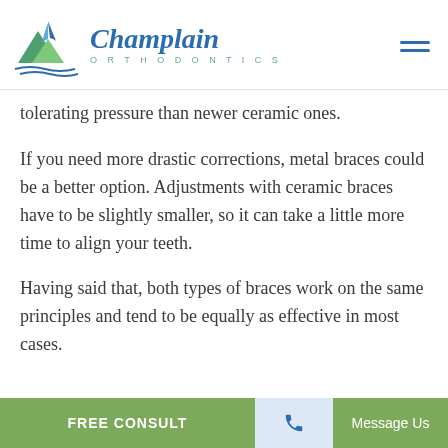Champlain Orthodontics
tolerating pressure than newer ceramic ones.
If you need more drastic corrections, metal braces could be a better option. Adjustments with ceramic braces have to be slightly smaller, so it can take a little more time to align your teeth.
Having said that, both types of braces work on the same principles and tend to be equally as effective in most cases.
FREE CONSULT | phone icon | Message Us